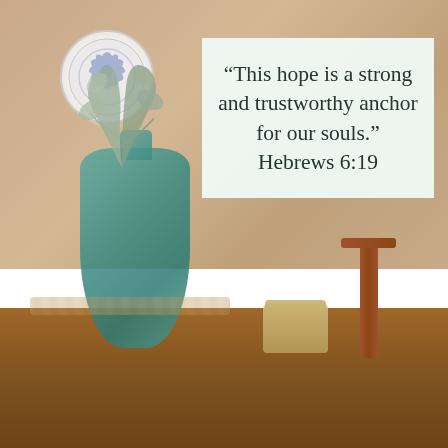[Figure (photo): Photo of a dining table with a teal glass vase containing eucalyptus sprigs, a decorative plate on the wall, and a wooden chair in the background. A white card with a Bible verse quote is placed on the table.]
“This hope is a strong and trustworthy anchor for our souls.” Hebrews 6:19